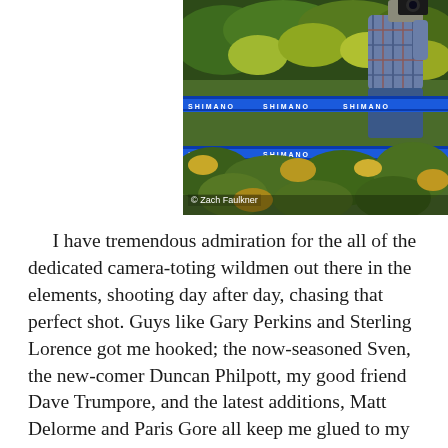[Figure (photo): A photographer wearing a plaid shirt crouches in foliage behind blue race course tape/barrier ropes in an outdoor wooded setting, photographing a cycling event. Photo credit: Zach Faulkner.]
I have tremendous admiration for the all of the dedicated camera-toting wildmen out there in the elements, shooting day after day, chasing that perfect shot.  Guys like Gary Perkins and Sterling Lorence got me hooked; the now-seasoned Sven, the new-comer Duncan Philpott, my good friend Dave Trumpore, and the latest additions, Matt Delorme and Paris Gore all keep me glued to my computer screen these days for more time than I'd like to admit.  They bring the world, in which I wish I had the privilege to play, into my house.  Every race, every event, every two-wheel adventure comes barreling through my LCD screen screaming at me